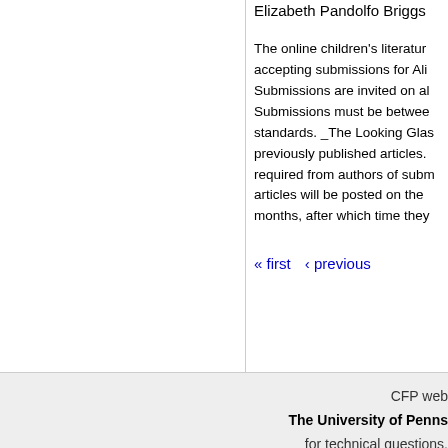Elizabeth Pandolfo Briggs
The online children's literature accepting submissions for Ali Submissions are invited on al Submissions must be between standards. _The Looking Glas previously published articles. required from authors of subm articles will be posted on the months, after which time they
« first  ‹ previous
CFP web
The University of Penns
for technical questions,